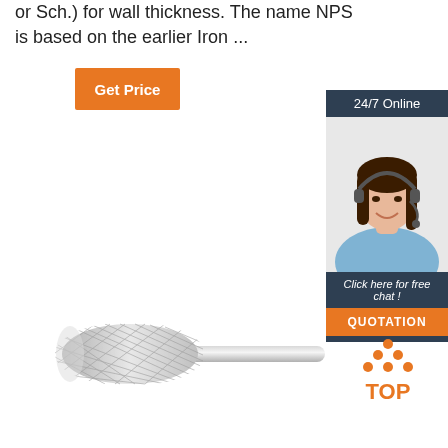or Sch.) for wall thickness. The name NPS is based on the earlier Iron ...
[Figure (other): Orange 'Get Price' button]
[Figure (other): Sidebar widget: dark blue background with '24/7 Online' header, photo of a woman wearing a headset smiling, 'Click here for free chat!' text, and orange 'QUOTATION' button]
[Figure (other): Cylindrical carbide burr / rotary tool bit with crosshatch pattern, metallic silver]
[Figure (other): Orange 'TOP' badge with orange dots arranged as an upward triangle above the word TOP]